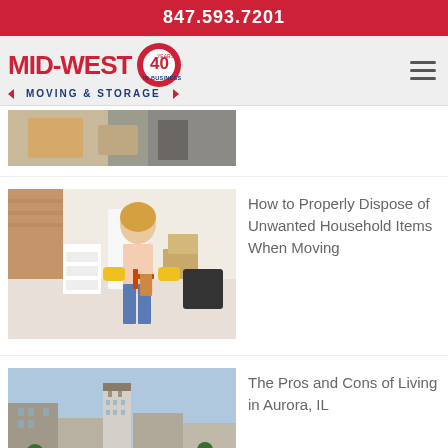847.593.7201
[Figure (logo): Mid-West Moving & Storage logo with 40 years in business badge and hamburger menu icon]
[Figure (photo): Partial photo of boxes being moved (cropped top portion visible)]
[Figure (photo): Woman with blonde hair and yellow rubber gloves standing in a messy apartment, preparing to clean while moving]
How to Properly Dispose of Unwanted Household Items When Moving
[Figure (photo): Aerial view of a city street in Aurora, IL showing downtown buildings and traffic]
The Pros and Cons of Living in Aurora, IL